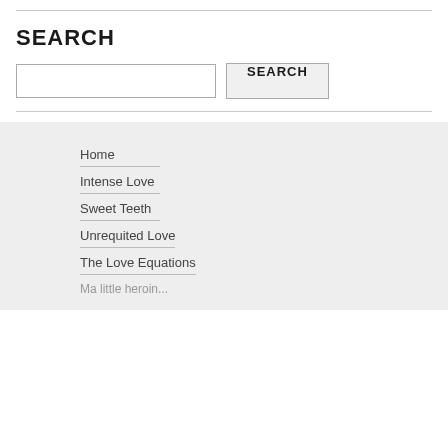SEARCH
[search input field] SEARCH [button]
Home
Intense Love
Sweet Teeth
Unrequited Love
The Love Equations